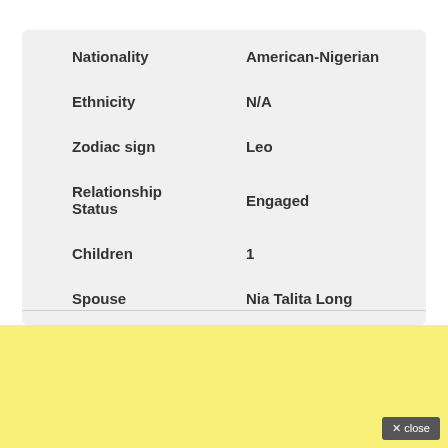|  |  |
| --- | --- |
| Nationality | American-Nigerian |
| Ethnicity | N/A |
| Zodiac sign | Leo |
| Relationship Status | Engaged |
| Children | 1 |
| Spouse | Nia Talita Long |
[Figure (other): Yellow background section with a close button in the bottom right corner.]